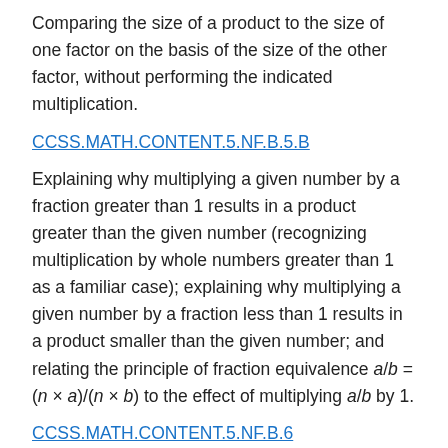Comparing the size of a product to the size of one factor on the basis of the size of the other factor, without performing the indicated multiplication.
CCSS.MATH.CONTENT.5.NF.B.5.B
Explaining why multiplying a given number by a fraction greater than 1 results in a product greater than the given number (recognizing multiplication by whole numbers greater than 1 as a familiar case); explaining why multiplying a given number by a fraction less than 1 results in a product smaller than the given number; and relating the principle of fraction equivalence a/b = (n × a)/(n × b) to the effect of multiplying a/b by 1.
CCSS.MATH.CONTENT.5.NF.B.6